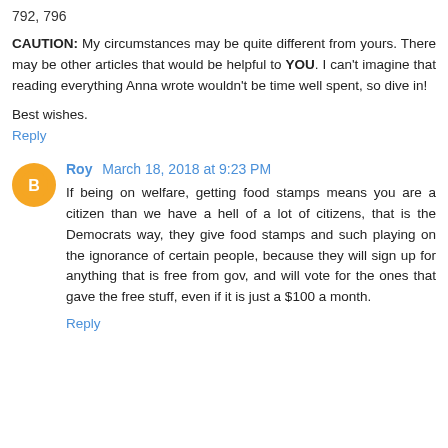792, 796
CAUTION: My circumstances may be quite different from yours. There may be other articles that would be helpful to YOU. I can't imagine that reading everything Anna wrote wouldn't be time well spent, so dive in!
Best wishes.
Reply
Roy March 18, 2018 at 9:23 PM
If being on welfare, getting food stamps means you are a citizen than we have a hell of a lot of citizens, that is the Democrats way, they give food stamps and such playing on the ignorance of certain people, because they will sign up for anything that is free from gov, and will vote for the ones that gave the free stuff, even if it is just a $100 a month.
Reply